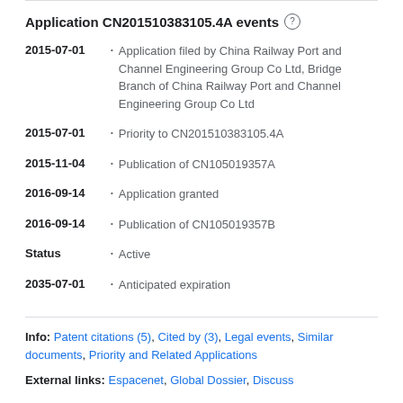Application CN201510383105.4A events
2015-07-01 • Application filed by China Railway Port and Channel Engineering Group Co Ltd, Bridge Branch of China Railway Port and Channel Engineering Group Co Ltd
2015-07-01 • Priority to CN201510383105.4A
2015-11-04 • Publication of CN105019357A
2016-09-14 • Application granted
2016-09-14 • Publication of CN105019357B
Status • Active
2035-07-01 • Anticipated expiration
Info: Patent citations (5), Cited by (3), Legal events, Similar documents, Priority and Related Applications
External links: Espacenet, Global Dossier, Discuss
Abstract